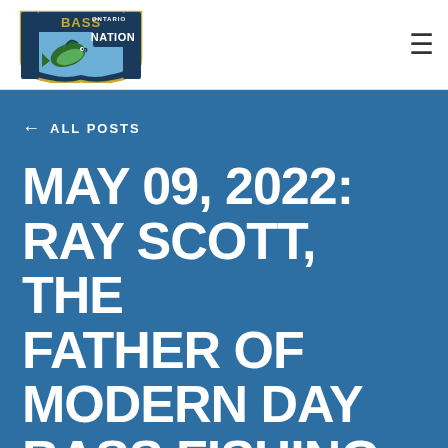[Figure (logo): Bass Ontario Nation logo — shield shape with a bass fish jumping, text BASS ONTARIO NATION]
≡
← ALL POSTS
MAY 09, 2022: RAY SCOTT, THE FATHER OF MODERN DAY BASS FISHING